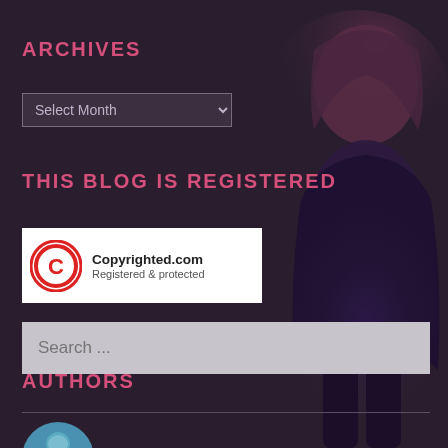ARCHIVES
Select Month
THIS BLOG IS REGISTERED
[Figure (logo): Copyrighted.com Registered & protected badge with red copyright circle icon on white background]
Search ...
AUTHORS